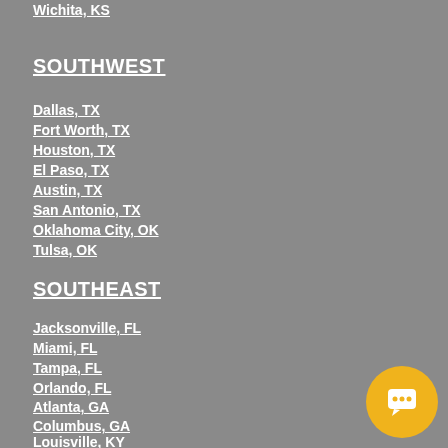Wichita, KS
SOUTHWEST
Dallas, TX
Fort Worth, TX
Houston, TX
El Paso, TX
Austin, TX
San Antonio, TX
Oklahoma City, OK
Tulsa, OK
SOUTHEAST
Jacksonville, FL
Miami, FL
Tampa, FL
Orlando, FL
Atlanta, GA
Columbus, GA
Louisville, KY
New Orleans, LA
Charlotte, NC
Nashville, TN